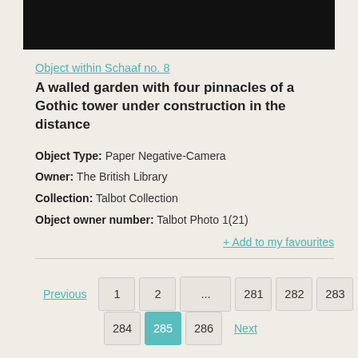[Figure (photo): Black rectangle representing a photograph thumbnail at the top of the page]
Object within Schaaf no. 8
A walled garden with four pinnacles of a Gothic tower under construction in the distance
Object Type: Paper Negative-Camera
Owner: The British Library
Collection: Talbot Collection
Object owner number: Talbot Photo 1(21)
+ Add to my favourites
Previous 1 2 ... 281 282 283 284 285 286 Next